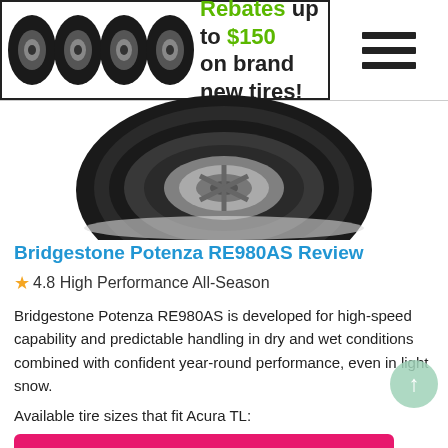[Figure (infographic): Banner advertisement showing four car tire/wheel images on the left and text 'Rebates up to $150 on brand new tires!' in black and green on white background with black border. A hamburger menu icon appears on the right side.]
[Figure (photo): Bridgestone Potenza RE980AS tire product photo, top-down angled view of a single black tire showing tread pattern against white background.]
Bridgestone Potenza RE980AS Review
★4.8 High Performance All-Season
Bridgestone Potenza RE980AS is developed for high-speed capability and predictable handling in dry and wet conditions combined with confident year-round performance, even in light snow.
Available tire sizes that fit Acura TL:
235/40R18 from $203.47
245/40R19 from $264.96